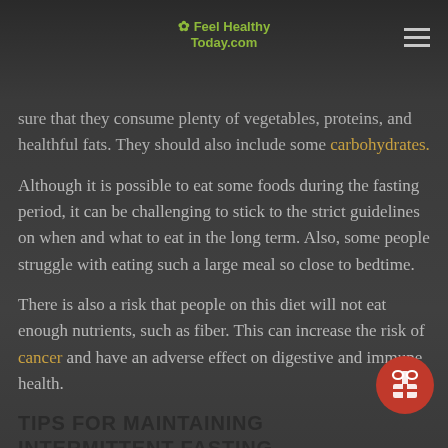Feel Healthy Today.com
sure that they consume plenty of vegetables, proteins, and healthful fats. They should also include some carbohydrates.
Although it is possible to eat some foods during the fasting period, it can be challenging to stick to the strict guidelines on when and what to eat in the long term. Also, some people struggle with eating such a large meal so close to bedtime.
There is also a risk that people on this diet will not eat enough nutrients, such as fiber. This can increase the risk of cancer and have an adverse effect on digestive and immune health.
TIPS FOR MAINTAINING INTERMITTENT FASTING